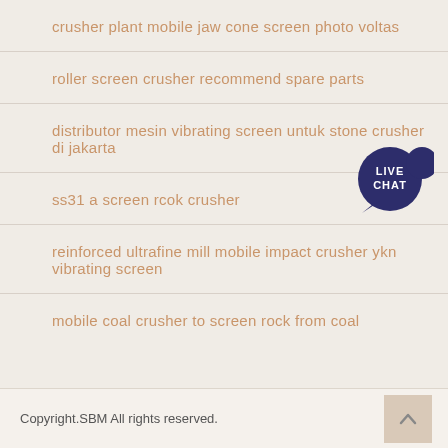crusher plant mobile jaw cone screen photo voltas
roller screen crusher recommend spare parts
distributor mesin vibrating screen untuk stone crusher di jakarta
ss31 a screen rcok crusher
reinforced ultrafine mill mobile impact crusher ykn vibrating screen
mobile coal crusher to screen rock from coal
[Figure (illustration): Live chat speech bubble badge with dark navy background and white text reading LIVE CHAT]
Copyright.SBM All rights reserved.